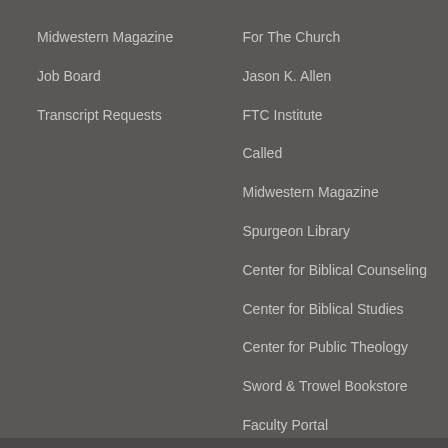Midwestern Magazine
Job Board
Transcript Requests
For The Church
Jason K. Allen
FTC Institute
Called
Midwestern Magazine
Spurgeon Library
Center for Biblical Counseling
Center for Biblical Studies
Center for Public Theology
Sword & Trowel Bookstore
Faculty Portal